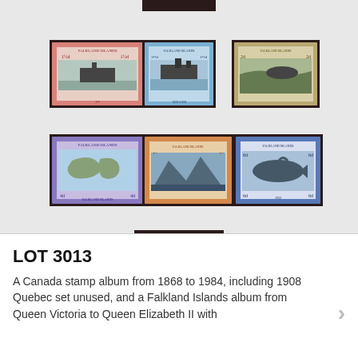[Figure (photo): A philatelic album page showing Falkland Islands stamps arranged in rows. Top partial stamp visible, then two rows of three stamps each (featuring ships, landscapes, a map, and a whale), and one stamp centered at bottom showing a ship with ONE SHILLING denomination.]
LOT 3013
A Canada stamp album from 1868 to 1984, including 1908 Quebec set unused, and a Falkland Islands album from Queen Victoria to Queen Elizabeth II with